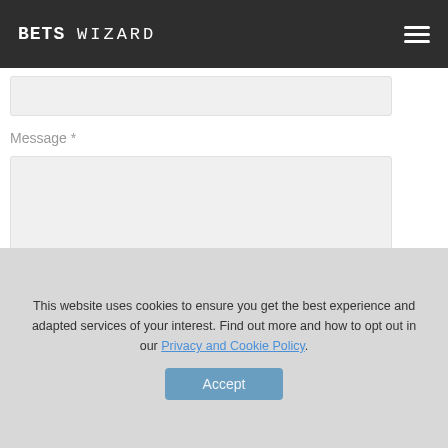BETS WIZARD
Message *
I consent to my data being processed in line with the guidelines set out in the Privacy Policy.
SEND
This website uses cookies to ensure you get the best experience and adapted services of your interest. Find out more and how to opt out in our Privacy and Cookie Policy.
Accept